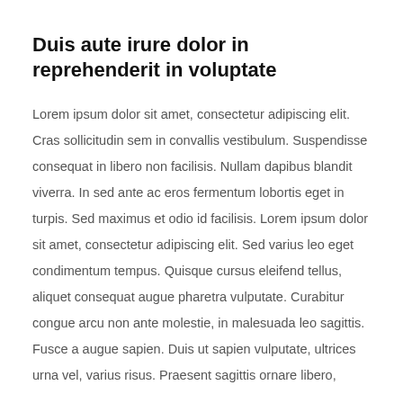Duis aute irure dolor in reprehenderit in voluptate
Lorem ipsum dolor sit amet, consectetur adipiscing elit. Cras sollicitudin sem in convallis vestibulum. Suspendisse consequat in libero non facilisis. Nullam dapibus blandit viverra. In sed ante ac eros fermentum lobortis eget in turpis. Sed maximus et odio id facilisis. Lorem ipsum dolor sit amet, consectetur adipiscing elit. Sed varius leo eget condimentum tempus. Quisque cursus eleifend tellus, aliquet consequat augue pharetra vulputate. Curabitur congue arcu non ante molestie, in malesuada leo sagittis. Fusce a augue sapien. Duis ut sapien vulputate, ultrices urna vel, varius risus. Praesent sagittis ornare libero,